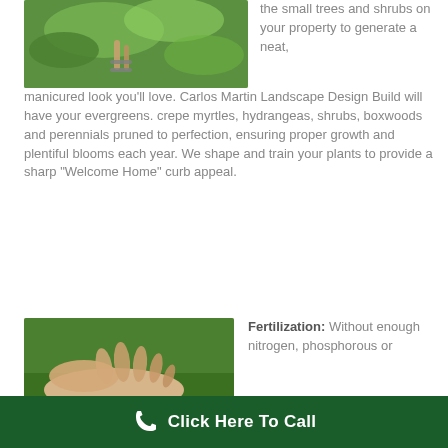[Figure (photo): Hands pruning or trimming a small green plant or shrub with scissors/clippers]
the small trees and shrubs on your property to generate a neat, manicured look you'll love. Carlos Martin Landscape Design Build will have your evergreens. crepe myrtles, hydrangeas, shrubs, boxwoods and perennials pruned to perfection, ensuring proper growth and plentiful blooms each year. We shape and train your plants to provide a sharp “Welcome Home” curb appeal.
[Figure (photo): Hands close-up near green grass, suggesting fertilization or lawn care]
Fertilization: Without enough nitrogen, phosphorous or
Click Here To Call